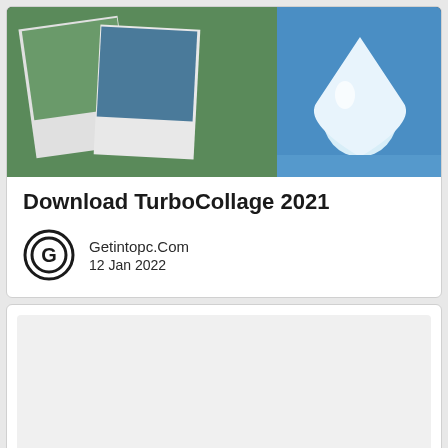[Figure (screenshot): Screenshot showing TurboCollage app imagery with photo collage and a blue droplet icon]
Download TurboCollage 2021
Getintopc.Com
12 Jan 2022
[Figure (screenshot): Blank/white screenshot area for second card]
Download Tonepusher – The